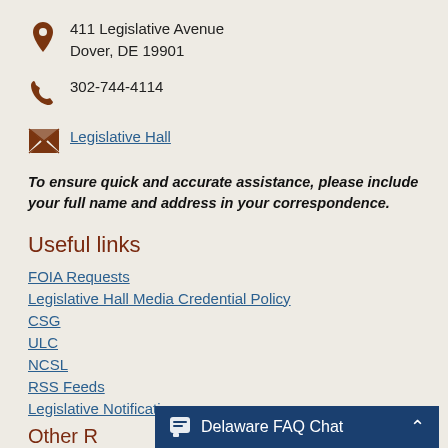411 Legislative Avenue
Dover, DE 19901
302-744-4114
Legislative Hall
To ensure quick and accurate assistance, please include your full name and address in your correspondence.
Useful links
FOIA Requests
Legislative Hall Media Credential Policy
CSG
ULC
NCSL
RSS Feeds
Legislative Notifications
Other R
Delaware FAQ Chat